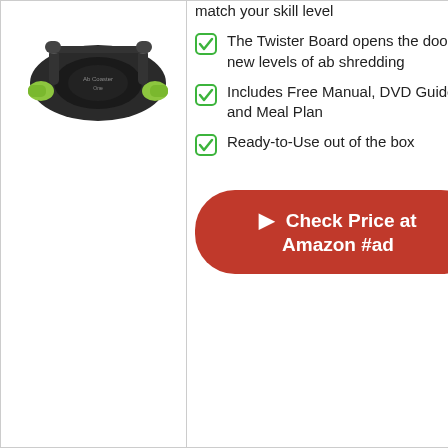[Figure (photo): Ab roller / ab board exercise product with green accents, shown from above at an angle]
match your skill level
The Twister Board opens the door to new levels of ab shredding
Includes Free Manual, DVD Guide, and Meal Plan
Ready-to-Use out of the box
Check Price at Amazon #ad